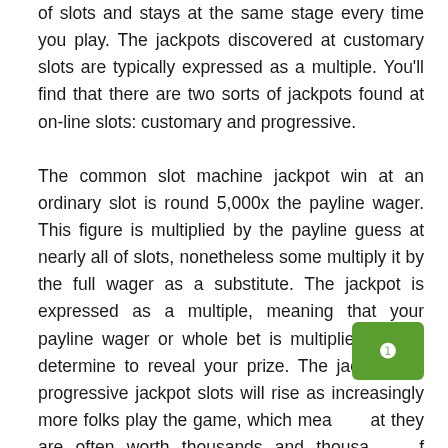of slots and stays at the same stage every time you play. The jackpots discovered at customary slots are typically expressed as a multiple. You'll find that there are two sorts of jackpots found at on-line slots: customary and progressive.

The common slot machine jackpot win at an ordinary slot is round 5,000x the payline wager. This figure is multiplied by the payline guess at nearly all of slots, nonetheless some multiply it by the full wager as a substitute. The jackpot is expressed as a multiple, meaning that your payline wager or whole bet is multiplied by the determine to reveal your prize. The jackpots at progressive jackpot slots will rise as increasingly more folks play the game, which means that they are often worth thousands and thousands of pounds. Another progressive jackpot slots randomly